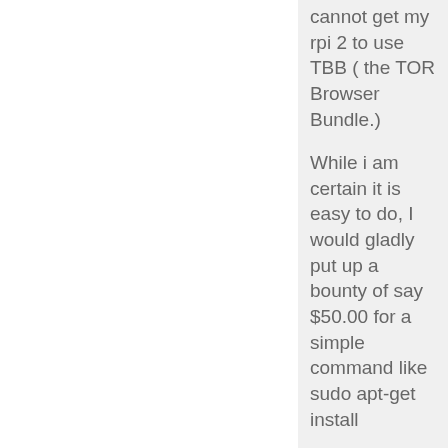cannot get my rpi 2 to use TBB ( the TOR Browser Bundle.)
While i am certain it is easy to do, I would gladly put up a bounty of say $50.00 for a simple command like sudo apt-get install